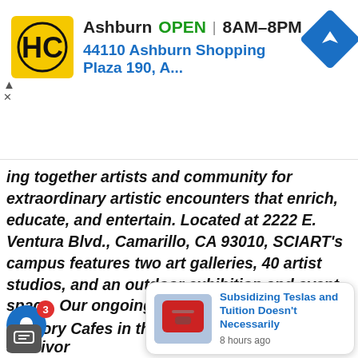[Figure (screenshot): Ad banner for Hairclub (HC) showing location in Ashburn, OPEN 8AM-8PM, address 44110 Ashburn Shopping Plaza 190, A..., with yellow HC logo and blue navigation arrow icon]
ing together artists and community for extraordinary artistic encounters that enrich, educate, and entertain. Located at 2222 E. Ventura Blvd., Camarillo, CA 93010, SCIART's campus features two art galleries, 40 artist studios, and an outdoor exhibition and event space. Our ongoing ams include free admission to the art ries, open studios on the First Saturday of each month, art education classes for children and adults, school tours program and special events and fe transforming alth-focuse
Memory Cafes in the Gallery and Stroke Survivor
[Figure (screenshot): Notification popup with image of red Tesla charging port and text: Subsidizing Teslas and Tuition Doesn't Necessarily, 8 hours ago]